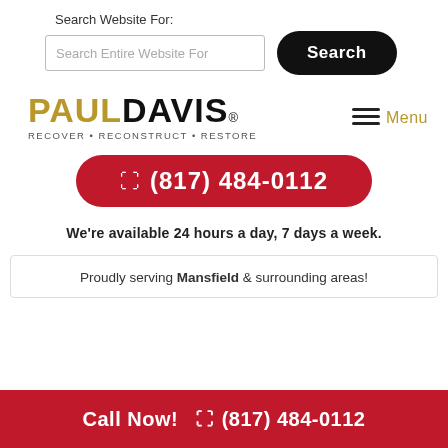Search Website For:
Search Entire Website For
Search
[Figure (logo): Paul Davis logo with tagline RECOVER • RECONSTRUCT • RESTORE]
Menu
(817) 484-0112
We're available 24 hours a day, 7 days a week.
Proudly serving Mansfield & surrounding areas!
Call Now!  (817) 484-0112